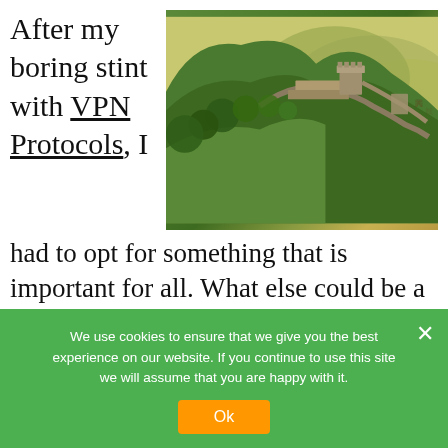After my boring stint with VPN Protocols, I had to opt for something that is important for all. What else could be a better topic than one of the greatest nations on this planet – People's Republic of China! Over my next few articles, we will be taking a look at China and how to bypass the same with the China Great Firewall.
[Figure (photo): Photo of the Great Wall of China winding along a green mountainous ridge with hazy yellow-green mountains in the background.]
We use cookies to ensure that we give you the best experience on our website. If you continue to use this site we will assume that you are happy with it. Ok